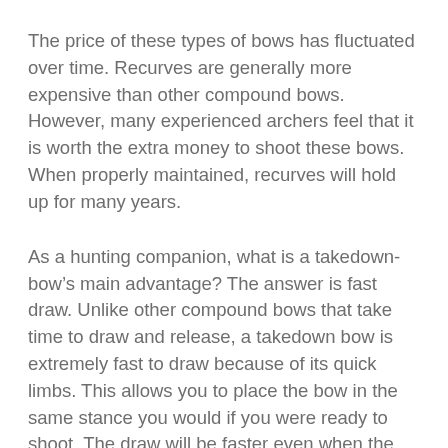The price of these types of bows has fluctuated over time. Recurves are generally more expensive than other compound bows. However, many experienced archers feel that it is worth the extra money to shoot these bows. When properly maintained, recurves will hold up for many years.
As a hunting companion, what is a takedown-bow’s main advantage? The answer is fast draw. Unlike other compound bows that take time to draw and release, a takedown bow is extremely fast to draw because of its quick limbs. This allows you to place the bow in the same stance you would if you were ready to shoot. The draw will be faster even when the limbs are extended fully. This means a faster shot and a more accurate shot.
What is a takedown-bow’s main weakness? In general,